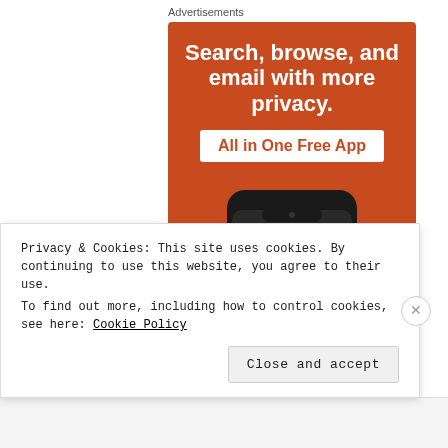Advertisements
[Figure (screenshot): DuckDuckGo advertisement banner on orange background showing 'Search, browse, and email with more privacy. All in One Free App' with a smartphone showing the DuckDuckGo app logo and name.]
Privacy & Cookies: This site uses cookies. By continuing to use this website, you agree to their use.
To find out more, including how to control cookies, see here: Cookie Policy
Close and accept